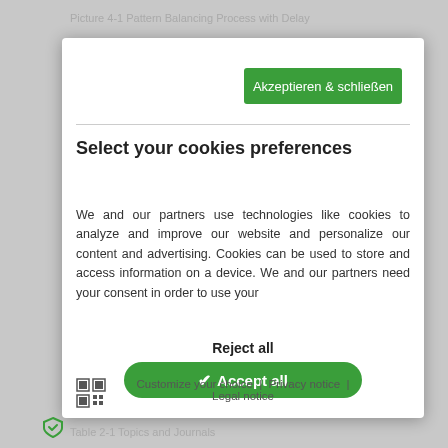Picture 4-1 Pattern Balancing Process with Delay
Akzeptieren & schließen
Select your cookies preferences
We and our partners use technologies like cookies to analyze and improve our website and personalize our content and advertising. Cookies can be used to store and access information on a device. We and our partners need your consent in order to use your
Reject all
✔ Accept all
Customize your choice  |  Privacy notice  |  Legal notice
Table 2-1 Topics and Journals